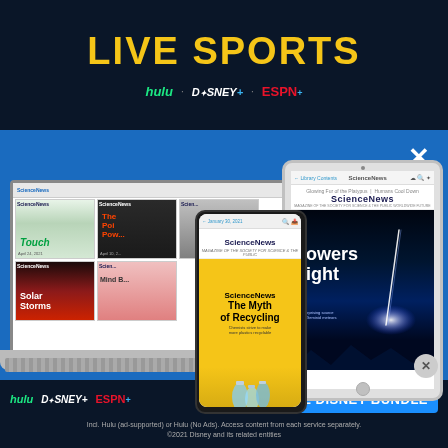[Figure (screenshot): Top advertisement banner for Hulu/Disney+/ESPN+ bundle showing 'LIVE SPORTS' text in yellow on dark navy background with streaming service logos]
[Figure (screenshot): Science News digital subscription advertisement showing laptop, tablet, and phone displaying Science News magazine covers on a blue background, with a white X close button]
[Figure (screenshot): Bottom Disney Bundle advertisement banner with Hulu, Disney+, ESPN+ logos and 'GET THE DISNEY BUNDLE' call-to-action button on dark navy background, with fine print about services]